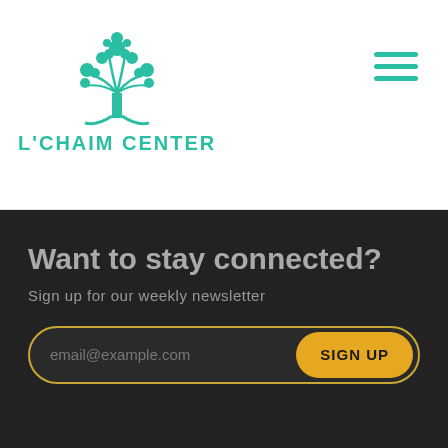[Figure (logo): L'Chaim Center logo with a teal decorative tree above the text]
L'CHAIM CENTER
Want to stay connected?
Sign up for our weekly newsletter
email@example.com
SIGN UP